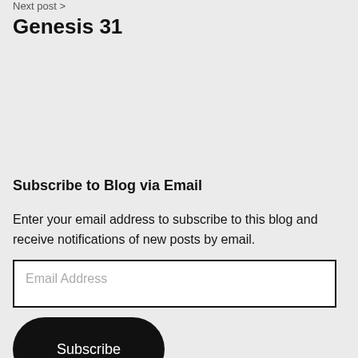Next post >
Genesis 31
Subscribe to Blog via Email
Enter your email address to subscribe to this blog and receive notifications of new posts by email.
Email Address
Subscribe